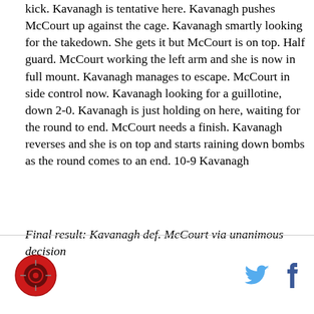kick. Kavanagh is tentative here. Kavanagh pushes McCourt up against the cage. Kavanagh smartly looking for the takedown. She gets it but McCourt is on top. Half guard. McCourt working the left arm and she is now in full mount. Kavanagh manages to escape. McCourt in side control now. Kavanagh looking for a guillotine, down 2-0. Kavanagh is just holding on here, waiting for the round to end. McCourt needs a finish. Kavanagh reverses and she is on top and starts raining down bombs as the round comes to an end. 10-9 Kavanagh
Final result: Kavanagh def. McCourt via unanimous decision
[Figure (logo): Red circular logo with camera/target icon]